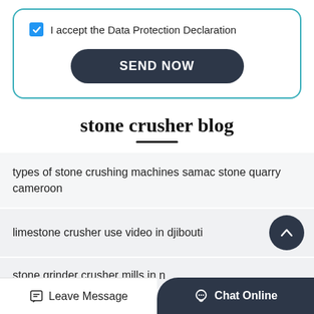I accept the Data Protection Declaration
SEND NOW
stone crusher blog
types of stone crushing machines samac stone quarry cameroon
limestone crusher use video in djibouti
stone grinder crusher mills in n
Leave Message
Chat Online